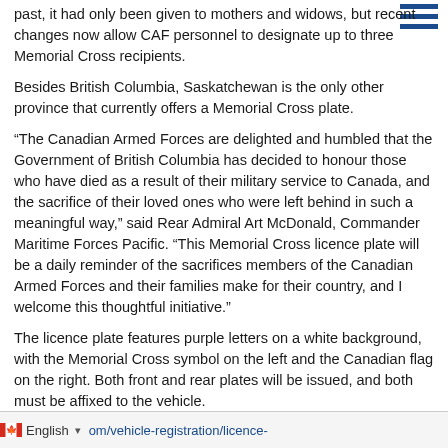past, it had only been given to mothers and widows, but recent changes now allow CAF personnel to designate up to three Memorial Cross recipients.
Besides British Columbia, Saskatchewan is the only other province that currently offers a Memorial Cross plate.
“The Canadian Armed Forces are delighted and humbled that the Government of British Columbia has decided to honour those who have died as a result of their military service to Canada, and the sacrifice of their loved ones who were left behind in such a meaningful way,” said Rear Admiral Art McDonald, Commander Maritime Forces Pacific. “This Memorial Cross licence plate will be a daily reminder of the sacrifices members of the Canadian Armed Forces and their families make for their country, and I welcome this thoughtful initiative.”
The licence plate features purple letters on a white background, with the Memorial Cross symbol on the left and the Canadian flag on the right. Both front and rear plates will be issued, and both must be affixed to the vehicle.
There will be an additional option of a keepsake plate for Memorial Cross recipients who want to receive a plate, but not display it on their vehicle.
Official Memorial Cross recipients may request a B.C. Memorial Cross licence plate by contacting ICBC headquarters at 604-982-6467 or they ca[n visit: icbc.com/vehicle-registration/licence-
English  om/vehicle-registration/licence-